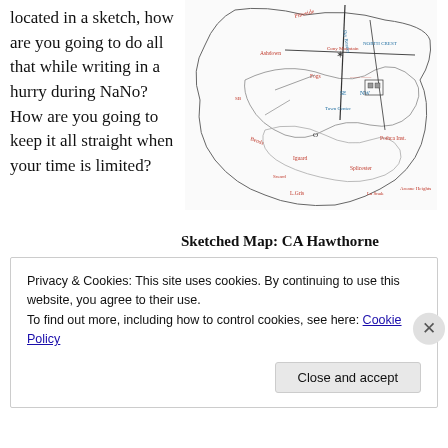located in a sketch, how are you going to do all that while writing in a hurry during NaNo? How are you going to keep it all straight when your time is limited?
[Figure (illustration): Hand-drawn sketched map labeled 'CA Hawthorne' with place names written in red and blue pen, showing roads, regions, and geographic features.]
Sketched Map: CA Hawthorne
Privacy & Cookies: This site uses cookies. By continuing to use this website, you agree to their use.
To find out more, including how to control cookies, see here: Cookie Policy